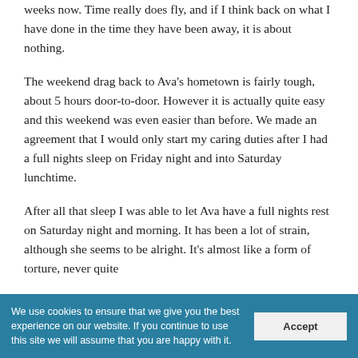weeks now. Time really does fly, and if I think back on what I have done in the time they have been away, it is about nothing.
The weekend drag back to Ava's hometown is fairly tough, about 5 hours door-to-door. However it is actually quite easy and this weekend was even easier than before. We made an agreement that I would only start my caring duties after I had a full nights sleep on Friday night and into Saturday lunchtime.
After all that sleep I was able to let Ava have a full nights rest on Saturday night and morning. It has been a lot of strain, although she seems to be alright. It's almost like a form of torture, never quite
We use cookies to ensure that we give you the best experience on our website. If you continue to use this site we will assume that you are happy with it.